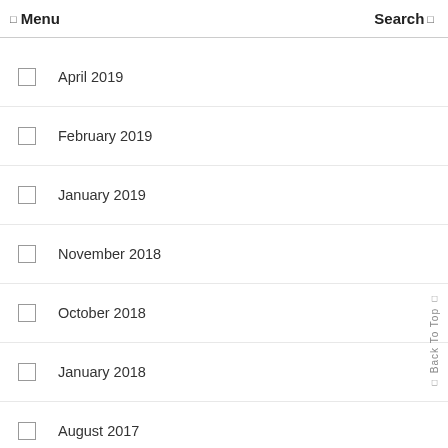☰ Menu  Search
April 2019
February 2019
January 2019
November 2018
October 2018
January 2018
August 2017
May 2017
January 2017
December 2016